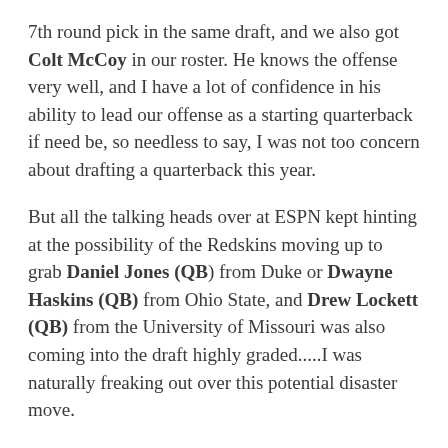7th round pick in the same draft, and we also got Colt McCoy in our roster. He knows the offense very well, and I have a lot of confidence in his ability to lead our offense as a starting quarterback if need be, so needless to say, I was not too concern about drafting a quarterback this year.
But all the talking heads over at ESPN kept hinting at the possibility of the Redskins moving up to grab Daniel Jones (QB) from Duke or Dwayne Haskins (QB) from Ohio State, and Drew Lockett (QB) from the University of Missouri was also coming into the draft highly graded.....I was naturally freaking out over this potential disaster move.
Leading up to the start of the draft I kept reading